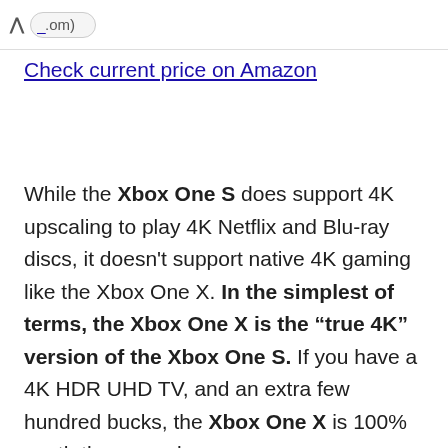^ .com)
Check current price on Amazon
While the Xbox One S does support 4K upscaling to play 4K Netflix and Blu-ray discs, it doesn't support native 4K gaming like the Xbox One X. In the simplest of terms, the Xbox One X is the “true 4K” version of the Xbox One S. If you have a 4K HDR UHD TV, and an extra few hundred bucks, the Xbox One X is 100% worth the upgrade.